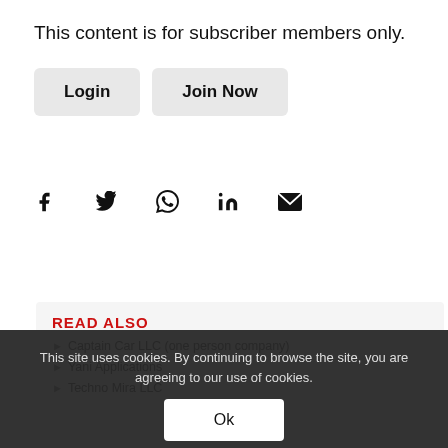This content is for subscriber members only.
Login   Join Now
[Figure (other): Social sharing icons: Facebook, Twitter, WhatsApp, LinkedIn, Email]
READ ALSO
Captain Car LLC (one person company)
Yani Applications
Techno Mira LLC
This site uses cookies. By continuing to browse the site, you are agreeing to our use of cookies.
Ok